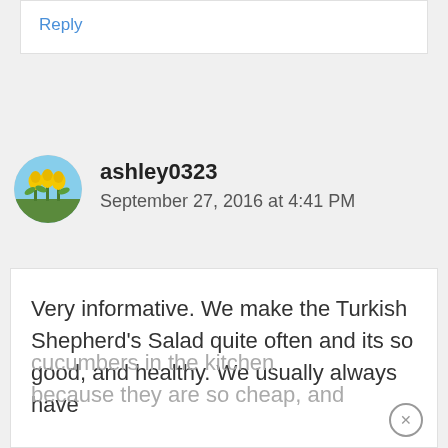Reply
[Figure (photo): Circular avatar photo showing yellow tulips flowers]
ashley0323
September 27, 2016 at 4:41 PM
Very informative. We make the Turkish Shepherd’s Salad quite often and its so good, and healthy. We usually always have cucumbers in the kitchen because they are so cheap, and